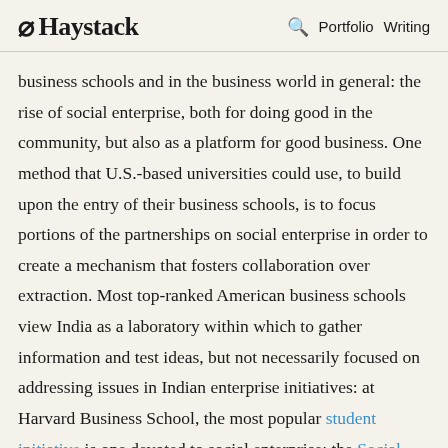Haystack | Portfolio | Writing
business schools and in the business world in general: the rise of social enterprise, both for doing good in the community, but also as a platform for good business. One method that U.S.-based universities could use, to build upon the entry of their business schools, is to focus portions of the partnerships on social enterprise in order to create a mechanism that fosters collaboration over extraction. Most top-ranked American business schools view India as a laboratory within which to gather information and test ideas, but not necessarily focused on addressing issues in Indian enterprise initiatives: at Harvard Business School, the most popular student initiative is one devoted to social enterprise; the Social Enterprise in Emerging Markets Initiative at the William Davidson Institute at the University of Michigan and the business school mediocre list of NBC...